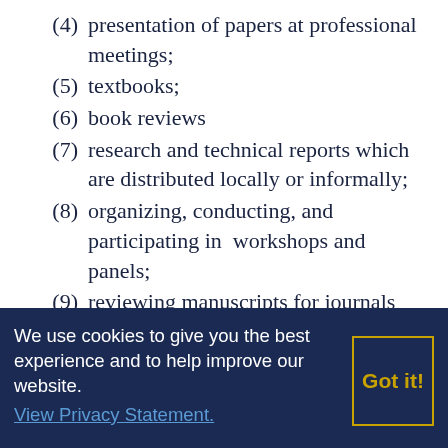(4) presentation of papers at professional meetings;
(5) textbooks;
(6) book reviews
(7) research and technical reports which are distributed locally or informally;
(8) organizing, conducting, and participating in workshops and panels;
(9) reviewing manuscripts for journals and/or publishers;
(10) reviewing grant
We use cookies to give you the best experience and to help improve our website. View Privacy Statement.